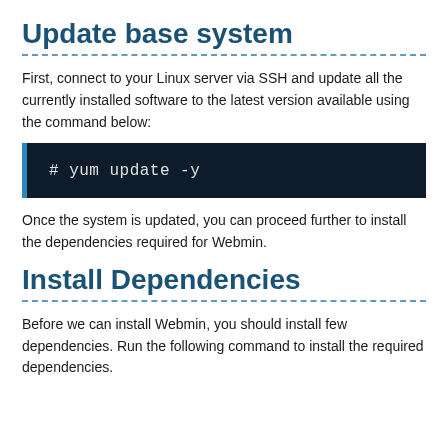Update base system
First, connect to your Linux server via SSH and update all the currently installed software to the latest version available using the command below:
Once the system is updated, you can proceed further to install the dependencies required for Webmin.
Install Dependencies
Before we can install Webmin, you should install few dependencies. Run the following command to install the required dependencies.